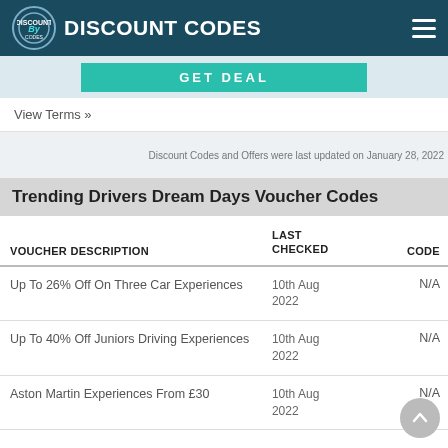DISCOUNT CODES
GET DEAL
View Terms »
Discount Codes and Offers were last updated on January 28, 2022
Trending Drivers Dream Days Voucher Codes
| VOUCHER DESCRIPTION | LAST CHECKED | CODE |
| --- | --- | --- |
| Up To 26% Off On Three Car Experiences | 10th Aug 2022 | N/A |
| Up To 40% Off Juniors Driving Experiences | 10th Aug 2022 | N/A |
| Aston Martin Experiences From £30 | 10th Aug 2022 | N/A |